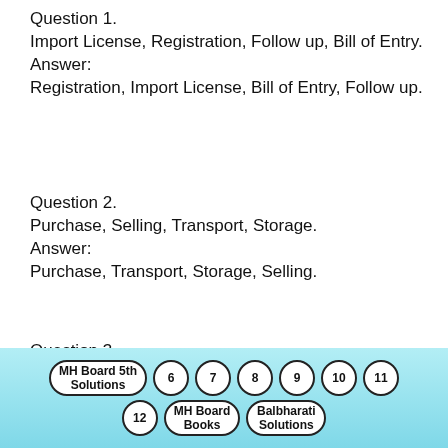Question 1.
Import License, Registration, Follow up, Bill of Entry.
Answer:
Registration, Import License, Bill of Entry, Follow up.
Question 2.
Purchase, Selling, Transport, Storage.
Answer:
Purchase, Transport, Storage, Selling.
Question 3.
Presentation of Documents, Follow-up, Shipment Advice, Realization of Export
MH Board 5th Solutions | 6 | 7 | 8 | 9 | 10 | 11 | 12 | MH Board Books | Balbharati Solutions